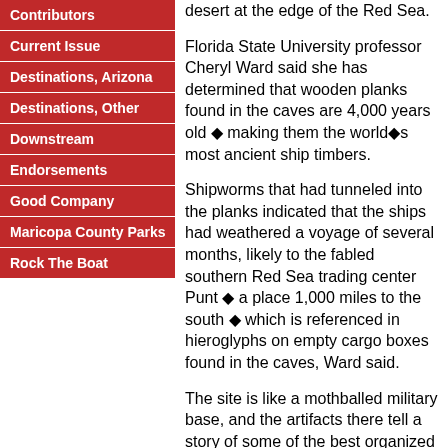Contributors
Current Issue
Destinations, Arizona
Destinations, Other
Downstream
Endorsements
Good Company
Maricopa County Parks
Rock The Boat
desert at the edge of the Red Sea.
Florida State University professor Cheryl Ward said she has determined that wooden planks found in the caves are 4,000 years old ◆ making them the world◆s most ancient ship timbers.
Shipworms that had tunneled into the planks indicated that the ships had weathered a voyage of several months, likely to the fabled southern Red Sea trading center Punt ◆ a place 1,000 miles to the south ◆ which is referenced in hieroglyphs on empty cargo boxes found in the caves, Ward said.
The site is like a mothballed military base, and the artifacts there tell a story of some of the best organized administrators the world has ever seen, Ward said. "It◆s a site that has kept its secrets for 40 centuries."